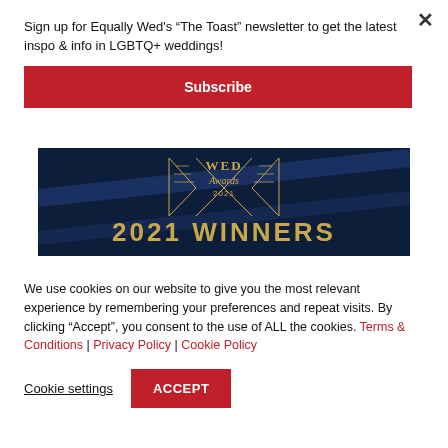Sign up for Equally Wed's “The Toast” newsletter to get the latest inspo & info in LGBTQ+ weddings!
Subscribe
[Figure (illustration): WED Awards 2021 banner with gold geometric design on dark navy background, text reads WED Awards 2021 and 2021 WINNERS]
We use cookies on our website to give you the most relevant experience by remembering your preferences and repeat visits. By clicking “Accept”, you consent to the use of ALL the cookies. Terms & Conditions | Privacy Policy | Cookie Policy
Cookie settings
ACCEPT